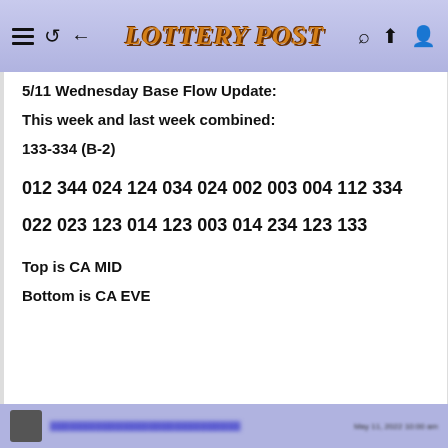Lottery Post
5/11 Wednesday Base Flow Update:
This week and last week combined:
133-334 (B-2)
012 344 024 124 034 024 002 003 004 112 334
022 023 123 014 123 003 014 234 123 133
Top is CA MID
Bottom is CA EVE